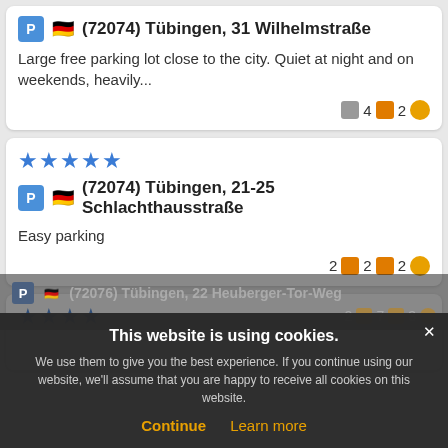(72074) Tübingen, 31 Wilhelmstraße
Large free parking lot close to the city. Quiet at night and on weekends, heavily...
4  2  (smiley)
(72074) Tübingen, 21-25 Schlachthausstraße
Easy parking
2  2  2  (smiley)
(72076) Tübingen, 22 Heuberger-Tor-Weg
2  7  3
This website is using cookies. We use them to give you the best experience. If you continue using our website, we'll assume that you are happy to receive all cookies on this website.
Continue  Learn more